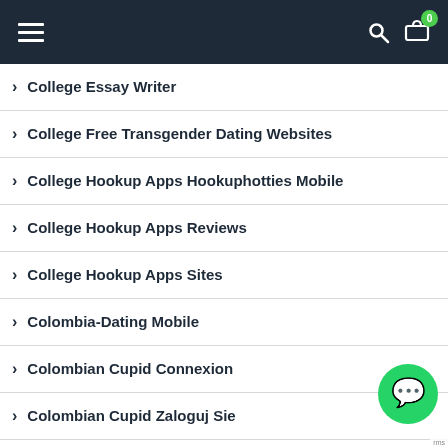Navigation header with hamburger menu, search icon, and cart with badge 0
College Essay Writer
College Free Transgender Dating Websites
College Hookup Apps Hookuphotties Mobile
College Hookup Apps Reviews
College Hookup Apps Sites
Colombia-Dating Mobile
Colombian Cupid Connexion
Colombian Cupid Zaloguj Sie
Colombian Cupid Recenze